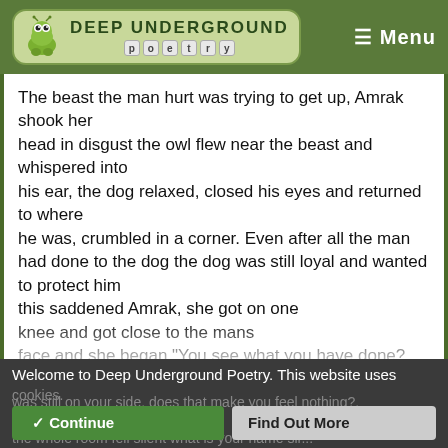Deep Underground Poetry — Menu
The beast the man hurt was trying to get up, Amrak shook her
head in disgust the owl flew near the beast and whispered into
his ear, the dog relaxed, closed his eyes and returned to where
he was, crumbled in a corner. Even after all the man had done to the dog the dog was still loyal and wanted to protect him
this saddened Amrak, she got on one
knee and got close to the mans
face and she began "You see what you have done? no, you
you are blind that dog was still going to protect you after all you have done, that dog beaten and bloodied by your hand
was still on your side, does that make you feel nothing?, do you truly have no a... face the whole room fell silent what is your name sir...
Welcome to Deep Underground Poetry. This website uses cookies. Continue / Find Out More